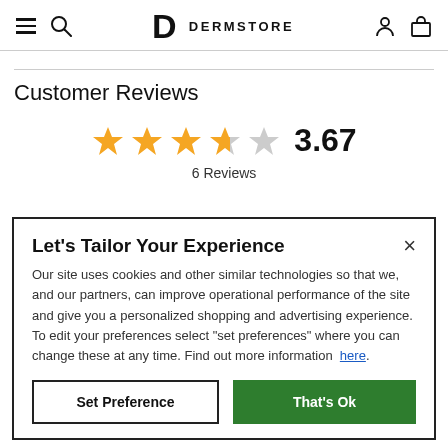DERMSTORE
Customer Reviews
[Figure (other): Star rating showing 3.67 out of 5 stars (4 filled, 1 gray), with rating number 3.67 and 6 Reviews]
Let's Tailor Your Experience
Our site uses cookies and other similar technologies so that we, and our partners, can improve operational performance of the site and give you a personalized shopping and advertising experience. To edit your preferences select "set preferences" where you can change these at any time. Find out more information here.